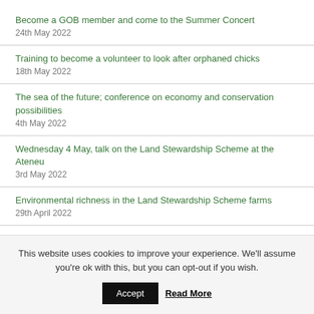Become a GOB member and come to the Summer Concert
24th May 2022
Training to become a volunteer to look after orphaned chicks
18th May 2022
The sea of the future; conference on economy and conservation possibilities
4th May 2022
Wednesday 4 May, talk on the Land Stewardship Scheme at the Ateneu
3rd May 2022
Environmental richness in the Land Stewardship Scheme farms
29th April 2022
Law for the Reserve of the Biosphere Crisis
This website uses cookies to improve your experience. We'll assume you're ok with this, but you can opt-out if you wish.